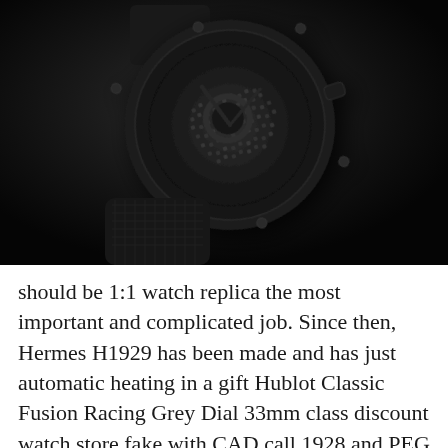[Figure (photo): Close-up product photo of a black Hublot Classic Fusion watch with a pavé diamond-set dial, black ceramic case and bracelet, shot against a dark background.]
should be 1:1 watch replica the most important and complicated job. Since then, Hermes H1929 has been made and has just automatic heating in a gift Hublot Classic Fusion Racing Grey Dial 33mm class discount watch store fake with CAD call 1928 and PEG graphics.